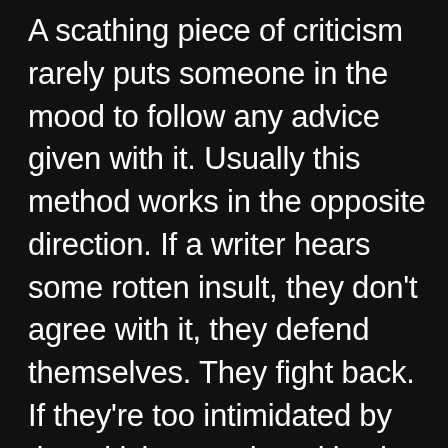A scathing piece of criticism rarely puts someone in the mood to follow any advice given with it. Usually this method works in the opposite direction. If a writer hears some rotten insult, they don't agree with it, they defend themselves. They fight back. If they're too intimidated by the criticism, or the critic, they might become withdrawn.